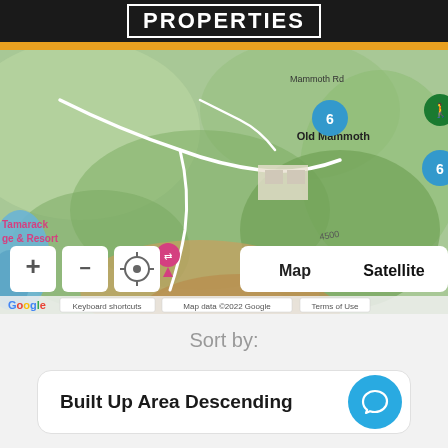PROPERTIES
[Figure (map): Google Maps topographic view of Mammoth Lakes area showing Old Mammoth, Sherwin Lakes Trailhead, Tamarack Lodge & Resort, numbered cluster markers (6), hiking icon, and terrain features. Map controls include zoom +/-, location button, and Map/Satellite toggle. Footer shows Google branding, Keyboard shortcuts, Map data ©2022 Google, Terms of Use.]
Sort by:
Built Up Area Descending